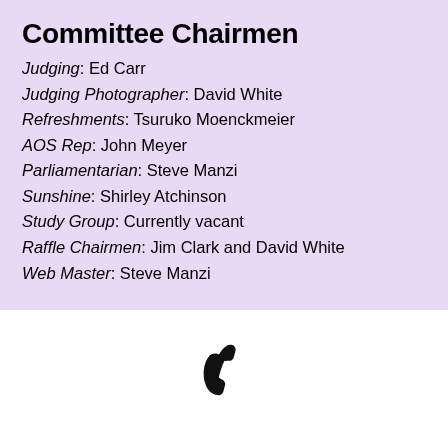Committee Chairmen
Judging: Ed Carr
Judging Photographer: David White
Refreshments: Tsuruko Moenckmeier
AOS Rep: John Meyer
Parliamentarian: Steve Manzi
Sunshine: Shirley Atchinson
Study Group: Currently vacant
Raffle Chairmen: Jim Clark and David White
Web Master: Steve Manzi
[Figure (illustration): Black telephone handset icon]